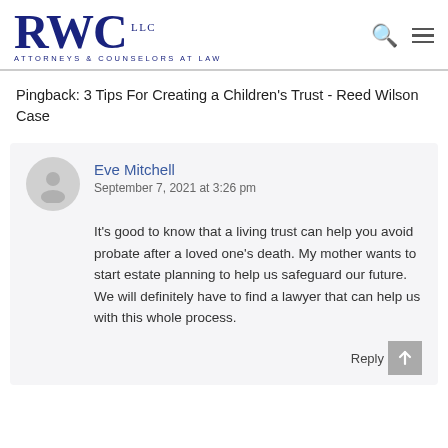[Figure (logo): RWC LLC Attorneys & Counselors at Law logo with large serif RWC letters in dark navy blue]
Pingback: 3 Tips For Creating a Children's Trust - Reed Wilson Case
Eve Mitchell
September 7, 2021 at 3:26 pm
It's good to know that a living trust can help you avoid probate after a loved one's death. My mother wants to start estate planning to help us safeguard our future. We will definitely have to find a lawyer that can help us with this whole process.